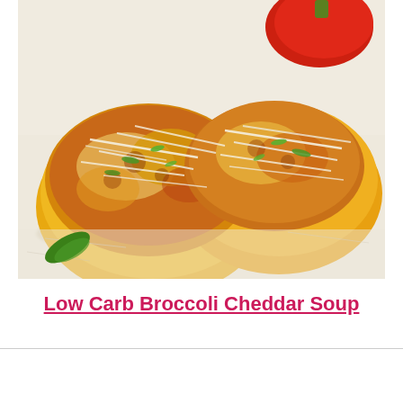[Figure (photo): Close-up photo of stuffed bell peppers (yellow) filled with a cheesy, saucy meat mixture, topped with shredded white cheese and sliced green onions, placed on white parchment paper. A red bell pepper is visible in the background.]
Low Carb Broccoli Cheddar Soup